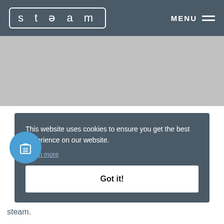[Figure (logo): STEAM logo in white text inside a rounded rectangle, on a dark blue-grey header bar with MENU and hamburger icon on the right]
[Figure (photo): Light grey hero image placeholder area]
This website uses cookies to ensure you get the best experience on our website.
Learn more
Got it!
steam.